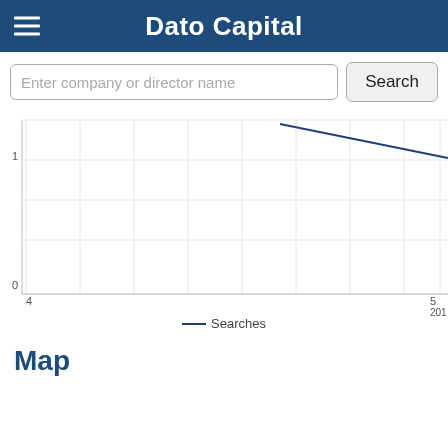Dato Capital
[Figure (line-chart): ]
— Searches
Map